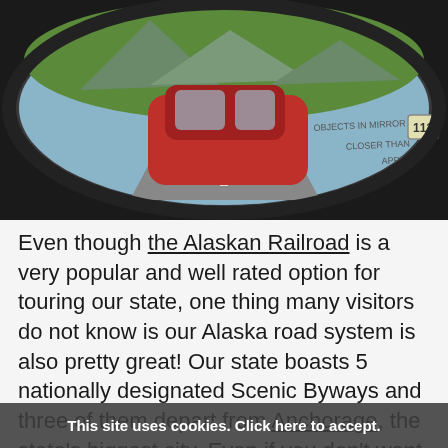[Figure (photo): A car's side-view mirror reflecting a red vehicle and a scenic road with trees and mountains. The mirror shows the text 'OBJECTS IN MIRROR ARE CLOSER THAN THEY APPEAR'.]
Even though the Alaskan Railroad is a very popular and well rated option for touring our state, one thing many visitors do not know is our Alaska road system is also pretty great! Our state boasts 5 nationally designated Scenic Byways and three of them depart from Anchorage, the state's biggest city. Even if you don't want to tour our entire state by car you can take a few days enjoying the scenery with day trips from Anchorage. We recommend taking a day to explore the Glenn Highway which passes through Palmer and the Matanuska River. A little more than 2 hours from Anchorage takes you to our largest accessible glacier from the road, the Matanuska. Another great optional day trip,
This site uses cookies. Click here to accept.